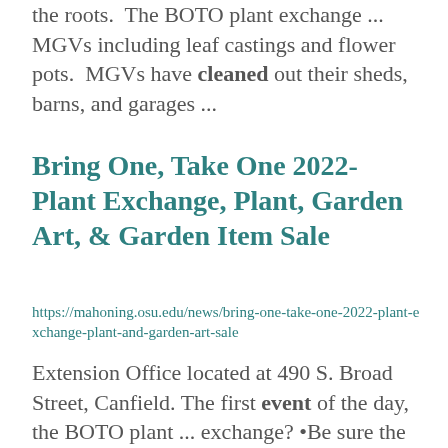the roots.  The BOTO plant exchange ... MGVs including leaf castings and flower pots.  MGVs have cleaned out their sheds, barns, and garages ...
Bring One, Take One 2022- Plant Exchange, Plant, Garden Art, & Garden Item Sale
https://mahoning.osu.edu/news/bring-one-take-one-2022-plant-exchange-plant-and-garden-art-sale
Extension Office located at 490 S. Broad Street, Canfield. The first event of the day, the BOTO plant ... exchange? •Be sure the plant is clean of insects and weeds.